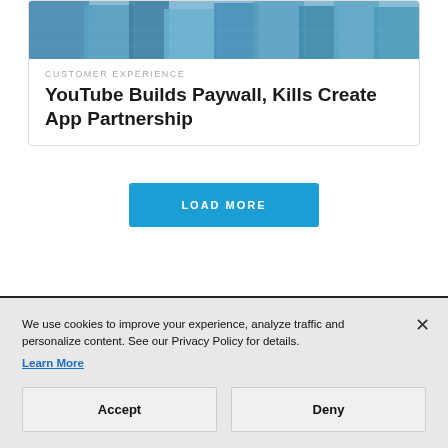[Figure (photo): Aerial/angled view of modern glass skyscrapers with blue-tinted facades]
CUSTOMER EXPERIENCE
YouTube Builds Paywall, Kills Create App Partnership
LOAD MORE
We use cookies to improve your experience, analyze traffic and personalize content. See our Privacy Policy for details. Learn More
Accept
Deny